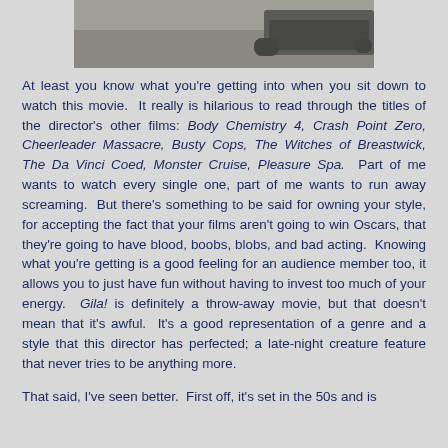[Figure (photo): Partial photograph showing the bottom portion of a scene, likely outdoors with a vehicle, cropped at top of page.]
At least you know what you're getting into when you sit down to watch this movie. It really is hilarious to read through the titles of the director's other films: Body Chemistry 4, Crash Point Zero, Cheerleader Massacre, Busty Cops, The Witches of Breastwick, The Da Vinci Coed, Monster Cruise, Pleasure Spa. Part of me wants to watch every single one, part of me wants to run away screaming. But there's something to be said for owning your style, for accepting the fact that your films aren't going to win Oscars, that they're going to have blood, boobs, blobs, and bad acting. Knowing what you're getting is a good feeling for an audience member too, it allows you to just have fun without having to invest too much of your energy. Gila! is definitely a throw-away movie, but that doesn't mean that it's awful. It's a good representation of a genre and a style that this director has perfected; a late-night creature feature that never tries to be anything more.
That said, I've seen better. First off, it's set in the 50s and is